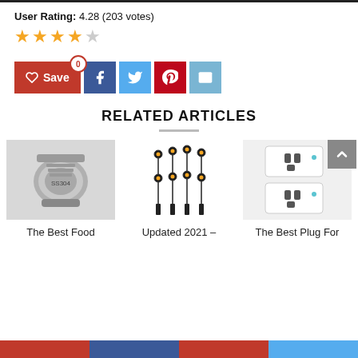User Rating: 4.28 (203 votes)
[Figure (other): 4 out of 5 stars rating display with orange filled stars and one empty gray star]
[Figure (other): Social sharing buttons: Save (red with heart icon and badge 0), Facebook (blue), Twitter (light blue), Pinterest (red), Email (blue)]
RELATED ARTICLES
[Figure (photo): SS304 stainless steel food grade fitting, metallic hex bolt connector]
The Best Food
[Figure (photo): Set of 12 LED landscape spotlights with stakes, warm white lighting, black wires]
Updated 2021 –
[Figure (photo): Two white smart plugs/outlets with blue indicator lights]
The Best Plug For